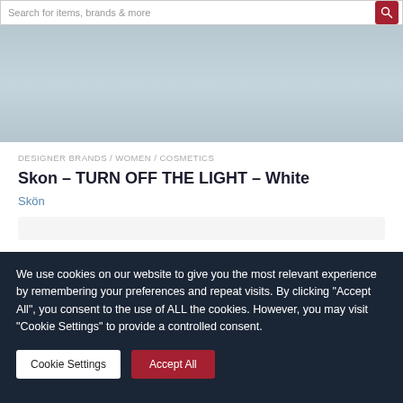Search for items, brands & more
[Figure (other): Light blue-grey banner/hero image placeholder area]
DESIGNER BRANDS / WOMEN / COSMETICS
Skon – TURN OFF THE LIGHT – White
Skön
We use cookies on our website to give you the most relevant experience by remembering your preferences and repeat visits. By clicking "Accept All", you consent to the use of ALL the cookies. However, you may visit "Cookie Settings" to provide a controlled consent.
Cookie Settings | Accept All